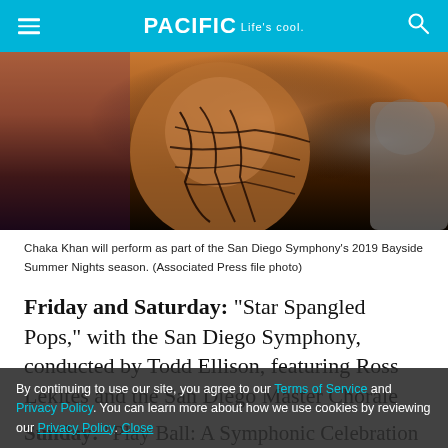PACIFIC Life's cool.
[Figure (photo): Concert performer with tattoos visible, dark stage background with orange and brown tones. Partial view of another performer in gray t-shirt at right edge.]
Chaka Khan will perform as part of the San Diego Symphony's 2019 Bayside Summer Nights season. (Associated Press file photo)
Friday and Saturday: “Star Spangled Pops,” with the San Diego Symphony, conducted by Todd Ellison, featuring Ross Lekites and the San Diego Master Chorale
Sunday: “Play Ball: A Symphonic Celebration of the Padres at 50,” with the San Diego Symphony, conducted by Rob Fisher, featuring Ross Lekites, the San Diego
By continuing to use our site, you agree to our Terms of Service and Privacy Policy. You can learn more about how we use cookies by reviewing our Privacy Policy. Close